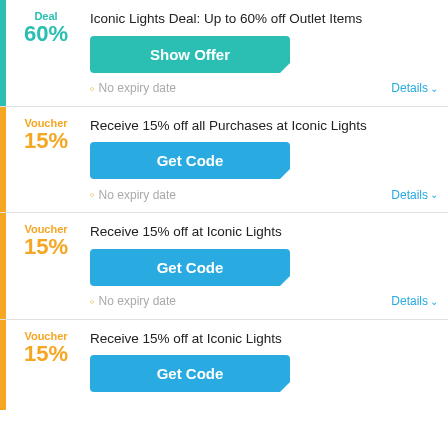Deal 60%
Iconic Lights Deal: Up to 60% off Outlet Items
Show Offer
No expiry date
Details
Voucher 15%
Receive 15% off all Purchases at Iconic Lights
Get Code
No expiry date
Details
Voucher 15%
Receive 15% off at Iconic Lights
Get Code
No expiry date
Details
Voucher 15%
Receive 15% off at Iconic Lights